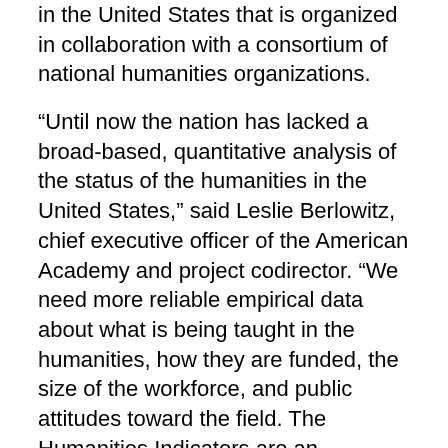in the United States that is organized in collaboration with a consortium of national humanities organizations.
“Until now the nation has lacked a broad-based, quantitative analysis of the status of the humanities in the United States,” said Leslie Berlowitz, chief executive officer of the American Academy and project codirector. “We need more reliable empirical data about what is being taught in the humanities, how they are funded, the size of the workforce, and public attitudes toward the field. The Humanities Indicators are an important step in closing that fundamental knowledge gap. They will help researchers and policymakers, universities, foundations, museums, libraries, humanities councils, and others answer basic questions about the humanities, track trends, diagnose problems, and formulate appropriate interventions.”